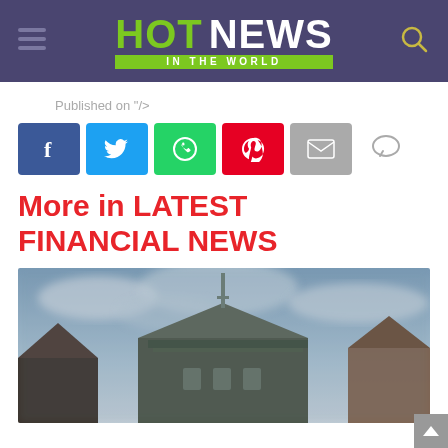HOT NEWS IN THE WORLD
Published on "/>
[Figure (infographic): Social share buttons: Facebook (blue), Twitter (cyan), WhatsApp (green), Pinterest (red), Email (gray), and a comment icon]
More in LATEST FINANCIAL NEWS
[Figure (photo): Blurred photo of Tudor-style buildings with dark rooftops against a cloudy blue-grey sky]